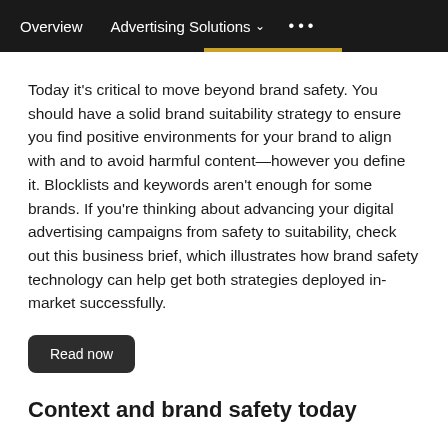Overview   Advertising Solutions ∨   •••
Today it's critical to move beyond brand safety. You should have a solid brand suitability strategy to ensure you find positive environments for your brand to align with and to avoid harmful content—however you define it. Blocklists and keywords aren't enough for some brands. If you're thinking about advancing your digital advertising campaigns from safety to suitability, check out this business brief, which illustrates how brand safety technology can help get both strategies deployed in-market successfully.
Read now
Context and brand safety today